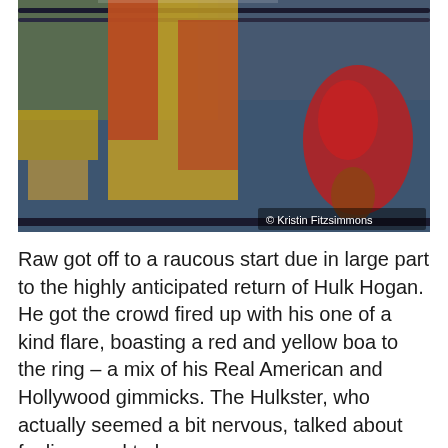[Figure (photo): A wrestler (Hulk Hogan) wearing red and yellow attire with a colorful feathered boa, standing in or near a wrestling ring with ropes visible. Crowd visible in the background. Photo credit: © Kristin Fitzsimmons.]
© Kristin Fitzsimmons
Raw got off to a raucous start due in large part to the highly anticipated return of Hulk Hogan. He got the crowd fired up with his one of a kind flare, boasting a red and yellow boa to the ring – a mix of his Real American and Hollywood gimmicks. The Hulkster, who actually seemed a bit nervous, talked about feeling good to be